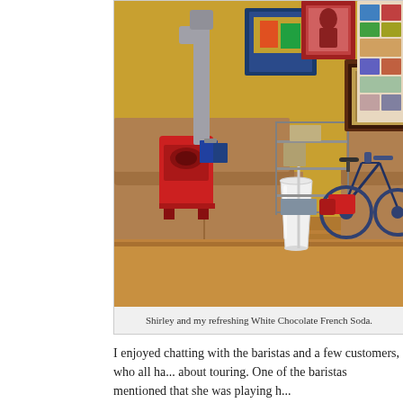[Figure (photo): Interior of a coffee shop with tan leather sofas, a red coffee roasting machine with a metal duct/chimney, a metal shelving unit, a touring bicycle leaning against the wall, posters and photos on a yellow-painted wall, and a white plastic cup with straw on a wooden table in the foreground.]
Shirley and my refreshing White Chocolate French Soda.
I enjoyed chatting with the baristas and a few customers, who all ha... about touring. One of the baristas mentioned that she was playing h...